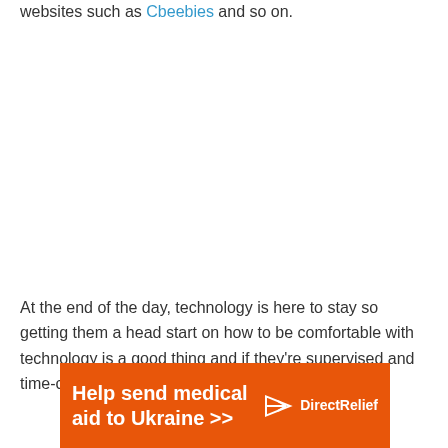websites such as Cbeebies and so on.
At the end of the day, technology is here to stay so getting them a head start on how to be comfortable with technology is a good thing and if they're supervised and time-controlled while on it then all the better.
[Figure (other): Advertisement banner for Direct Relief: 'Help send medical aid to Ukraine >>' with Direct Relief logo on orange background]